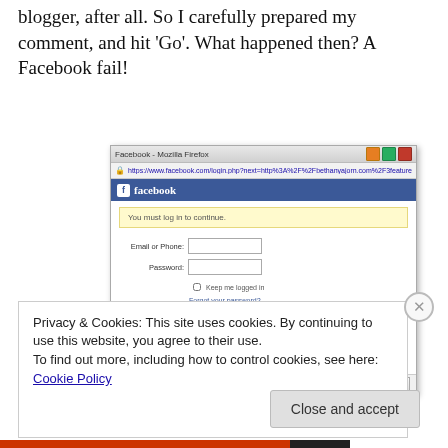blogger, after all. So I carefully prepared my comment, and hit ‘Go’. What happened then? A Facebook fail!
[Figure (screenshot): A Mozilla Firefox browser window showing a Facebook login dialog. The dialog has a yellow warning box reading 'You must log in to continue.' with Email or Phone and Password fields, a Keep me logged in checkbox, Forgot your password link, and Log In / Cancel buttons at the bottom.]
Privacy & Cookies: This site uses cookies. By continuing to use this website, you agree to their use.
To find out more, including how to control cookies, see here: Cookie Policy
Close and accept